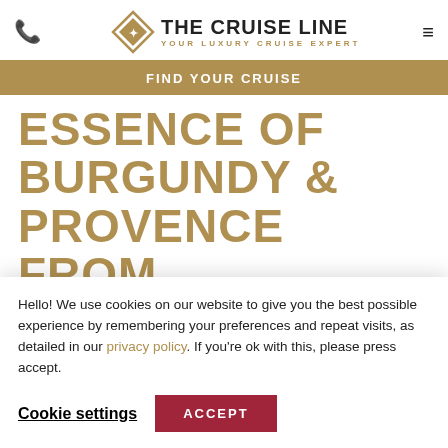THE CRUISE LINE — YOUR LUXURY CRUISE EXPERT
FIND YOUR CRUISE
ESSENCE OF BURGUNDY & PROVENCE FROM ARLES
LUXURY RIVER CRUISE
Hello! We use cookies on our website to give you the best possible experience by remembering your preferences and repeat visits, as detailed in our privacy policy. If you're ok with this, please press accept.
Cookie settings | ACCEPT